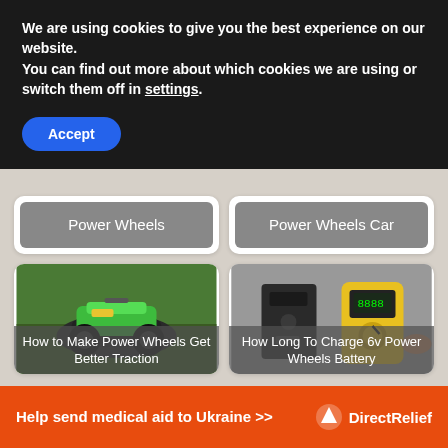We are using cookies to give you the best experience on our website.
You can find out more about which cookies we are using or switch them off in settings.
Accept
Power Wheels
Power Wheels Car
[Figure (photo): Green Kawasaki power wheels ATV toy vehicle on grass]
How to Make Power Wheels Get Better Traction
[Figure (photo): Battery charger and yellow multimeter on a surface]
How Long To Charge 6v Power Wheels Battery
Help send medical aid to Ukraine >>
DirectRelief